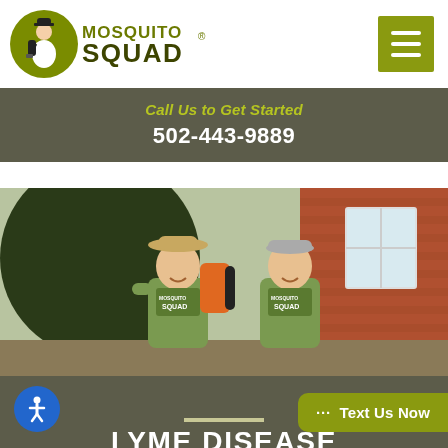[Figure (logo): Mosquito Squad logo with cartoon mascot character holding sprayer inside a green circle, with 'MOSQUITO SQUAD' text in olive/dark green]
Call Us to Get Started
502-443-9889
[Figure (photo): Two smiling men in green Mosquito Squad shirts standing in front of a brick house with trees; one wearing a hat carries a backpack sprayer]
Text Us Now
LYME DISEASE